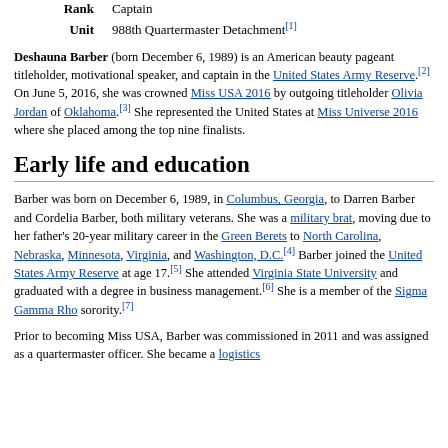| Label | Value |
| --- | --- |
| Rank | Captain |
| Unit | 988th Quartermaster Detachment[1] |
Deshauna Barber (born December 6, 1989) is an American beauty pageant titleholder, motivational speaker, and captain in the United States Army Reserve.[2] On June 5, 2016, she was crowned Miss USA 2016 by outgoing titleholder Olivia Jordan of Oklahoma.[3] She represented the United States at Miss Universe 2016 where she placed among the top nine finalists.
Early life and education
Barber was born on December 6, 1989, in Columbus, Georgia, to Darren Barber and Cordelia Barber, both military veterans. She was a military brat, moving due to her father's 20-year military career in the Green Berets to North Carolina, Nebraska, Minnesota, Virginia, and Washington, D.C.[4] Barber joined the United States Army Reserve at age 17.[5] She attended Virginia State University and graduated with a degree in business management.[6] She is a member of the Sigma Gamma Rho sorority.[7]
Prior to becoming Miss USA, Barber was commissioned in 2011 and was assigned as a quartermaster officer. She became a logistics...